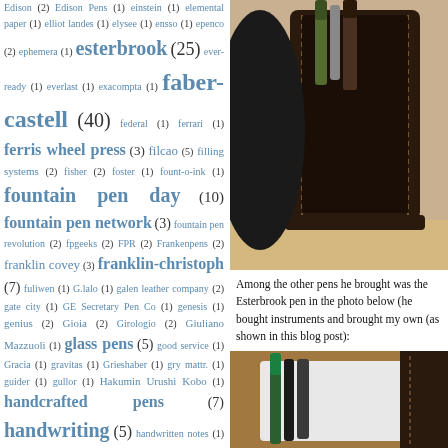Edison (2) Edison Pens (1) einstein (1) elemental paper (1) elliot landes (1) elysee (1) ensso (1) epenco (2) ephemera (1) esterbrook (25) ever-ready (1) everlast (1) exacompta (1) faber-castell (40) federal (1) ferrari (1) ferris wheel press (3) filcao (5) filling systems (2) fisher (2) foster (1) fount-o-ink (1) fountain pen day (10) fountain pen network (3) fountain pen revolution (2) fpgeeks (2) FPR (2) Frankenpens (2) franklin covey (3) franklin-christoph (7) fuliwen (1) G.lalo (1) galen leather company (2) gate city (1) GE Secretary Pen Co (1) genesis (1) genius (2) Gioia (2) Girologio (2) Giuliano Mazzuoli (1) glass pens (5) good service (1) Gracia (1) gravitas (1) Grieshaber (1) gry mattr. (1) guider (1) gullor (1) Hakumin Urushi Kobo (1) handcrafted pens (7) handwriting (5) handwritten notes (1) happy new year (13) harris (1) Hawaii (5) Heiko (1) Helix Oxford (1) hero (12) history (2) hong kong (3) hongdian (2) hugo boss (1) Hunt (1) HYL (1) Imperial (1) incowrimo (2) india ink (1) Indigraph (1) Ingersoll (2) ink (43) ink sale (2) ink swap (14) inks (10) Inoxcrom (1) interviews (2) invicta (1) italix (1) itoya (2) j herbin (4) jac zagoory (1) Janelle Tyler (1) Jean-Pierre Lépine (1) jefferson (1) jinhao (32) kaco (2) kaigelu (4) kanilea pen
[Figure (photo): Close-up photo of a dark brown leather pen case/holder with stitching, containing pens, sitting on a surface. Top photo on right column.]
Among the other pens he brought was the Esterbrook pen in the photo below (he bought instruments and brought my own (as shown in this blog post):
[Figure (photo): Close-up photo of a brown leather pen case open showing pens inside including a green pen, partial view. Bottom photo on right column.]